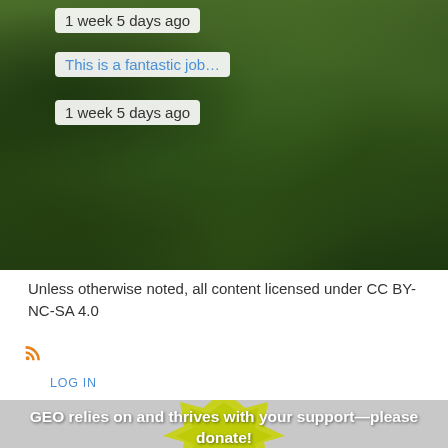[Figure (photo): Green grass field background with comment tooltips overlaid. Two white tooltip boxes showing '1 week 5 days ago' and a blue link tooltip showing 'This is a fantastic job…']
1 week 5 days ago
This is a fantastic job…
1 week 5 days ago
Unless otherwise noted, all content licensed under CC BY-NC-SA 4.0
[Figure (other): RSS feed icon in orange]
LOG IN
[Figure (illustration): GEO logo sun/star shape in yellow-green on grey background with donate text overlay]
GEO relies on and thrives with your support—please donate!